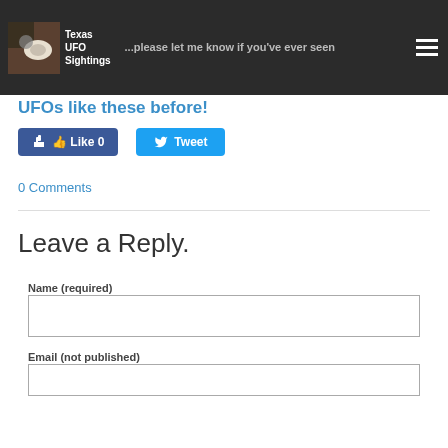Texas UFO Sightings
...please let me know if you've ever seen UFOs like these before!
[Figure (screenshot): Facebook Like button with count 0 and Twitter Tweet button]
0 Comments
Leave a Reply.
Name (required)
Email (not published)